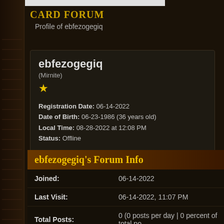CARD FORUM
  Profile of ebfezogegiq
ebfezogegiq
(Mirnite)
★
Registration Date: 06-14-2022
Date of Birth: 06-23-1986 (36 years old)
Local Time: 08-28-2022 at 12:08 PM
Status: Offline
ebfezogegiq's Forum Info
|  |  |
| --- | --- |
| Joined: | 06-14-2022 |
| Last Visit: | 06-14-2022, 11:07 PM |
| Total Posts: | 0 (0 posts per day | 0 percent of total po |
| Total Threads: | 0 (0 threads per day | 0 percent of total |